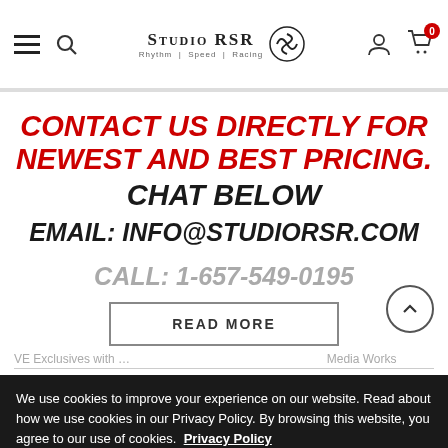[Figure (screenshot): Studio RSR website header with hamburger menu, search icon, Studio RSR logo with tagline 'Rhythm | Speed | Racing', user account icon, and cart icon with badge showing 0]
CONTACT US DIRECTLY FOR NEWEST AND BEST PRICING. CHAT BELOW
EMAIL: INFO@STUDIORSR.COM
CALL: 1-657-549-0195
READ MORE
We use cookies to improve your experience on our website. Read about how we use cookies in our Privacy Policy. By browsing this website, you agree to our use of cookies. Privacy Policy
ACCEPT